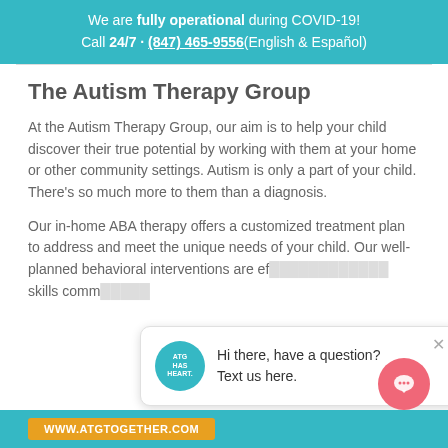We are fully operational during COVID-19! Call 24/7 - (847) 465-9556 (English & Español)
The Autism Therapy Group
At the Autism Therapy Group, our aim is to help your child discover their true potential by working with them at your home or other community settings. Autism is only a part of your child. There's so much more to them than a diagnosis.
Our in-home ABA therapy offers a customized treatment plan to address and meet the unique needs of your child. Our well-planned behavioral interventions are ef... skills comm...
[Figure (screenshot): Chat popup with ATG Has Heart logo and message: Hi there, have a question? Text us here.]
WWW.ATGTOGETHER.COM